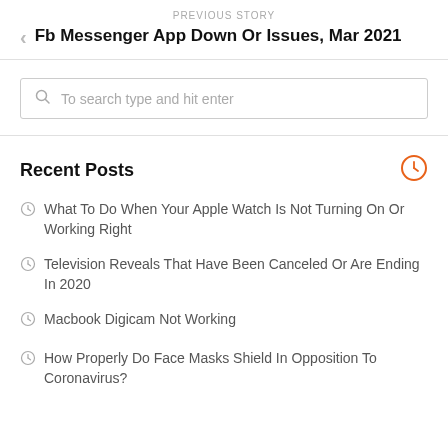PREVIOUS STORY
Fb Messenger App Down Or Issues, Mar 2021
To search type and hit enter
Recent Posts
What To Do When Your Apple Watch Is Not Turning On Or Working Right
Television Reveals That Have Been Canceled Or Are Ending In 2020
Macbook Digicam Not Working
How Properly Do Face Masks Shield In Opposition To Coronavirus?